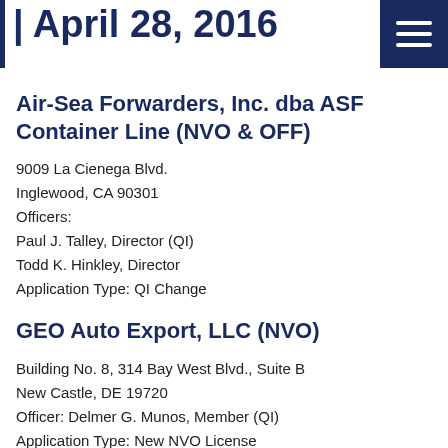April 28, 2016
Air-Sea Forwarders, Inc. dba ASF Container Line (NVO & OFF)
9009 La Cienega Blvd.
Inglewood, CA 90301
Officers:
Paul J. Talley, Director (QI)
Todd K. Hinkley, Director
Application Type: QI Change
GEO Auto Export, LLC (NVO)
Building No. 8, 314 Bay West Blvd., Suite B
New Castle, DE 19720
Officer: Delmer G. Munos, Member (QI)
Application Type: New NVO License